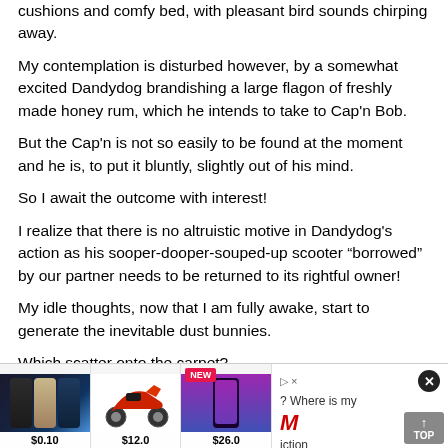cushions and comfy bed, with pleasant bird sounds chirping away.
My contemplation is disturbed however, by a somewhat excited Dandydog brandishing a large flagon of freshly made honey rum, which he intends to take to Cap'n Bob.
But the Cap'n is not so easily to be found at the moment and he is, to put it bluntly, slightly out of his mind.
So I await the outcome with interest!
I realize that there is no altruistic motive in Dandydog's action as his sooper-dooper-souped-up scooter “borrowed” by our partner needs to be returned to its rightful owner!
My idle thoughts, now that I am fully awake, start to generate the inevitable dust bunnies.
Which scatter onto the carpet?
???????
[Figure (photo): Advertisement row showing: iPhones at $0.10, red scooter at $12.0, new iPhone at $26.0, and a partial ad with question mark, M logo, and TOP button]